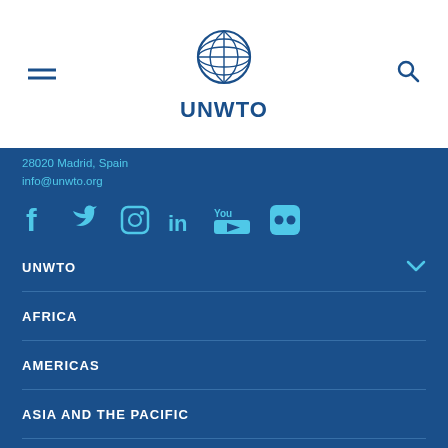[Figure (logo): UNWTO logo with globe icon and UNWTO text in blue]
28020 Madrid, Spain
info@unwto.org
[Figure (infographic): Social media icons row: Facebook, Twitter, Instagram, LinkedIn, YouTube, Flickr in cyan color]
UNWTO
AFRICA
AMERICAS
ASIA AND THE PACIFIC